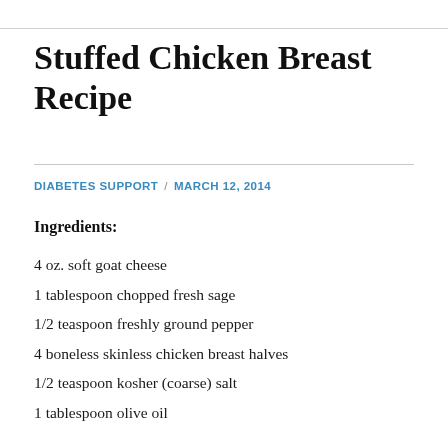Stuffed Chicken Breast Recipe
DIABETES SUPPORT / MARCH 12, 2014
Ingredients:
4 oz. soft goat cheese
1 tablespoon chopped fresh sage
1/2 teaspoon freshly ground pepper
4 boneless skinless chicken breast halves
1/2 teaspoon kosher (coarse) salt
1 tablespoon olive oil